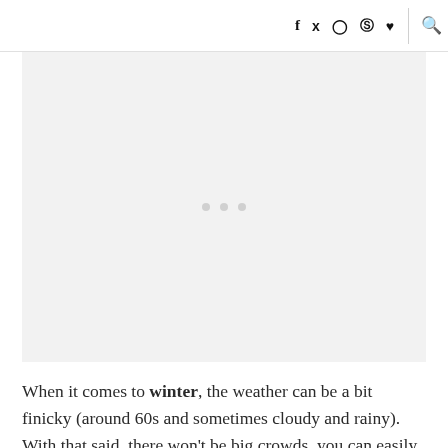Social media icons: f, twitter, instagram, pinterest, heart | search icon
[Figure (photo): Large image placeholder with light gray background and three loading dots in the center]
When it comes to winter, the weather can be a bit finicky (around 60s and sometimes cloudy and rainy). With that said, there won't be big crowds, you can easily